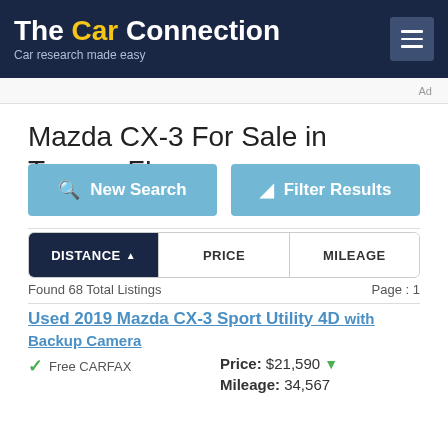[Figure (logo): The Car Connection logo with tagline 'Car research made easy' on dark navy background]
Mazda CX-3 For Sale in Tampa, FL
New Search | Filter Results (buttons)
DISTANCE ▲ | PRICE | MILEAGE (sort tabs)
Found 68 Total Listings   Page : 1
Used 2019 Mazda CX-3 Sport Utility 4D with Backup Camera
Free CARFAX
Price: $21,590 ▼
Mileage: 34,567